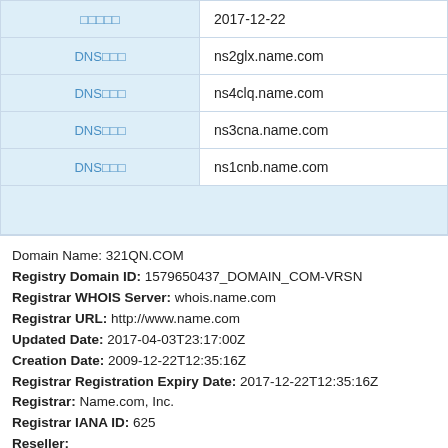| Field | Value |
| --- | --- |
| □□□□□ | 2017-12-22 |
| DNS□□□ | ns2glx.name.com |
| DNS□□□ | ns4clq.name.com |
| DNS□□□ | ns3cna.name.com |
| DNS□□□ | ns1cnb.name.com |
Domain Name: 321QN.COM
Registry Domain ID: 1579650437_DOMAIN_COM-VRSN
Registrar WHOIS Server: whois.name.com
Registrar URL: http://www.name.com
Updated Date: 2017-04-03T23:17:00Z
Creation Date: 2009-12-22T12:35:16Z
Registrar Registration Expiry Date: 2017-12-22T12:35:16Z
Registrar: Name.com, Inc.
Registrar IANA ID: 625
Reseller:
Domain Status: ok https://www.icann.org/epp#ok
Registry Registrant ID: Not Available From Registry
Registrant Name: zhigang xu
Registrant Organization: zhigang xu
Registrant Street: wenshengqudongshixiaoqu , wenshengqudongsh